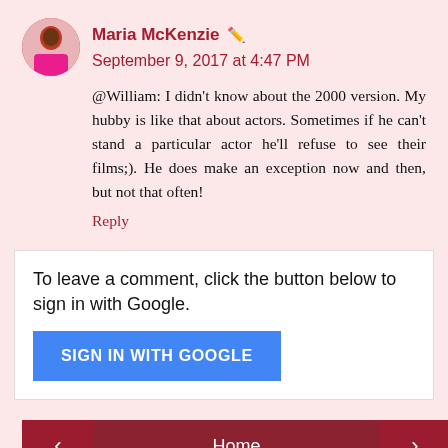Maria McKenzie · September 9, 2017 at 4:47 PM
@William: I didn't know about the 2000 version. My hubby is like that about actors. Sometimes if he can't stand a particular actor he'll refuse to see their films;). He does make an exception now and then, but not that often!
Reply
To leave a comment, click the button below to sign in with Google.
SIGN IN WITH GOOGLE
Home
View web version
Powered by Blogger.